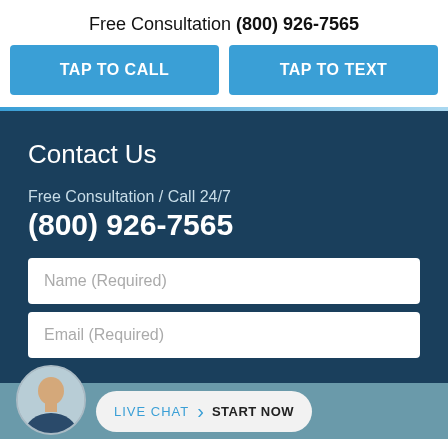Free Consultation (800) 926-7565
TAP TO CALL
TAP TO TEXT
Contact Us
Free Consultation / Call 24/7
(800) 926-7565
Name (Required)
Email (Required)
LIVE CHAT  START NOW